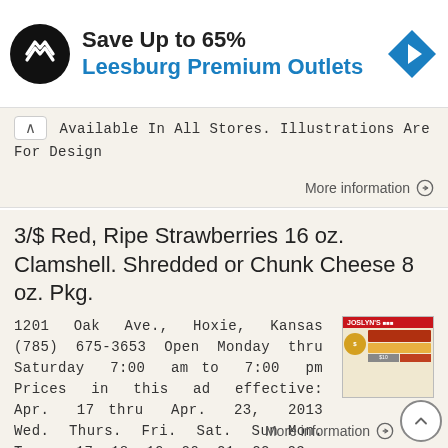[Figure (logo): Ad banner: black circular logo with double arrow symbol, headline 'Save Up to 65%', subheadline 'Leesburg Premium Outlets', blue diamond navigation icon on right]
Available In All Stores. Illustrations Are For Design
More information →
3/$ Red, Ripe Strawberries 16 oz. Clamshell. Shredded or Chunk Cheese 8 oz. Pkg.
1201 Oak Ave., Hoxie, Kansas (785) 675-3653 Open Monday thru Saturday 7:00 am to 7:00 pm Prices in this ad effective: Apr. 17 thru Apr. 23, 2013 Wed. Thurs. Fri. Sat. Sun Mon. Tues. 17 18 19 20 21 22 23
More information →